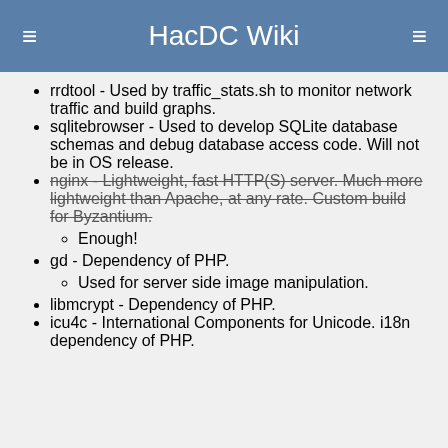HacDC Wiki
rrdtool - Used by traffic_stats.sh to monitor network traffic and build graphs.
sqlitebrowser - Used to develop SQLite database schemas and debug database access code. Will not be in OS release.
nginx - Lightweight, fast HTTP(S) server. Much more lightweight than Apache, at any rate. Custom build for Byzantium.
Enough!
gd - Dependency of PHP.
Used for server side image manipulation.
libmcrypt - Dependency of PHP.
icu4c - International Components for Unicode. i18n dependency of PHP.